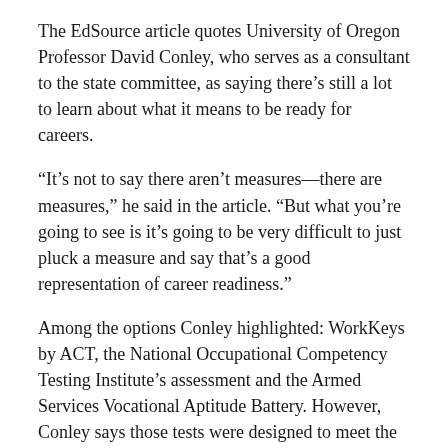The EdSource article quotes University of Oregon Professor David Conley, who serves as a consultant to the state committee, as saying there's still a lot to learn about what it means to be ready for careers.
“It’s not to say there aren’t measures—there are measures,” he said in the article. “But what you’re going to see is it’s going to be very difficult to just pluck a measure and say that’s a good representation of career readiness.”
Among the options Conley highlighted: WorkKeys by ACT, the National Occupational Competency Testing Institute’s assessment and the Armed Services Vocational Aptitude Battery. However, Conley says those tests were designed to meet the needs of employers and not to measure schools’ performance.